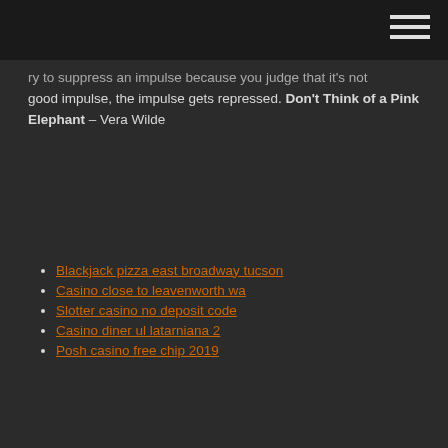ry to suppress an impulse because you judge that it's not good impulse, the impulse gets repressed. Don't Think of a Pink Elephant – Vera Wilde
Blackjack pizza east broadway tucson
Casino close to leavenworth wa
Slotter casino no deposit code
Casino diner ul latarniana 2
Posh casino free chip 2019